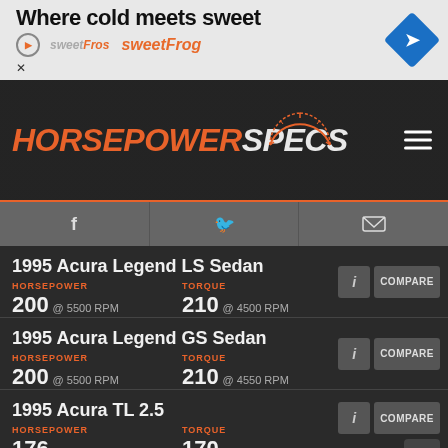[Figure (screenshot): SweetFrog advertisement banner: 'Where cold meets sweet' with sweetFrog logo and navigation arrow icon]
[Figure (logo): HorsepowerSpecs logo with speedometer graphic and hamburger menu icon]
[Figure (infographic): Social media links bar with Facebook, Twitter, and email icons]
1995 Acura Legend LS Sedan
HORSEPOWER: 200 @ 5500 RPM
TORQUE: 210 @ 4500 RPM
1995 Acura Legend GS Sedan
HORSEPOWER: 200 @ 5500 RPM
TORQUE: 210 @ 4550 RPM
1995 Acura TL 2.5
HORSEPOWER: 176 @ 6300 RPM
TORQUE: 170 @ 3900 RPM
1996 Acura Integra RS Sedan
HORSEPOWER: 142 @ 6300 RPM
TORQUE: 127 @ 5200 RPM
1996 Acura Integra LS Sedan
HORSEPOWER: 142
TORQUE: 127